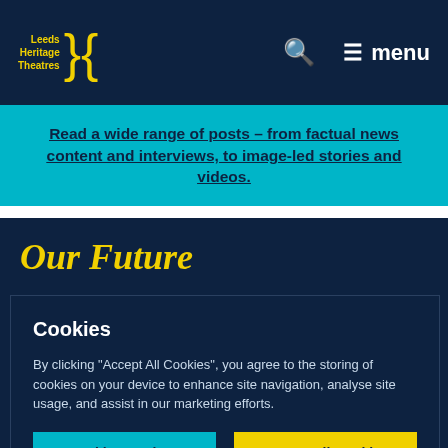Leeds Heritage Theatres — navigation bar with logo, search icon, and menu
Read a wide range of posts – from factual news content and interviews, to image-led stories and videos.
Our Future
We have ambitious plans for Leeds Heritage Theatres. We want to ensure that we are here for
Cookies
By clicking "Accept All Cookies", you agree to the storing of cookies on your device to enhance site navigation, analyse site usage, and assist in our marketing efforts.
Cookies Settings   Accept All Cookies